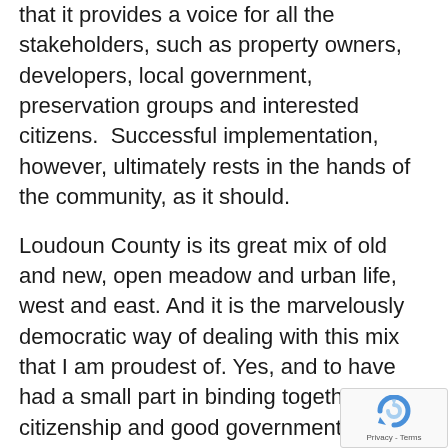that it provides a voice for all the stakeholders, such as property owners, developers, local government, preservation groups and interested citizens.  Successful implementation, however, ultimately rests in the hands of the community, as it should.
Loudoun County is its great mix of old and new, open meadow and urban life, west and east. And it is the marvelously democratic way of dealing with this mix that I am proudest of. Yes, and to have had a small part in binding together good citizenship and good government is what I'll be thinking about most often as I remember my magnificent 30 years of living in Loudoun County.
[Figure (other): reCAPTCHA badge with circular arrow icon and Privacy - Terms text]